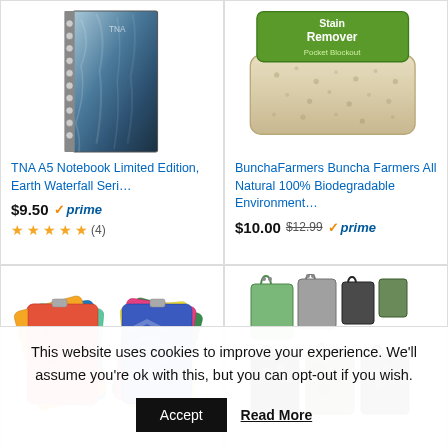[Figure (photo): Spiral-bound notebook with blue/grey waterfall texture cover]
TNA A5 Notebook Limited Edition, Earth Waterfall Seri...
$9.50 ✓prime
★★★★★ (4)
[Figure (photo): BunchaFarmers stain remover bar with green packaging]
BunchaFarmers Buncha Farmers All Natural 100% Biodegradable Environment...
$10.00 $12.99 ✓prime
[Figure (photo): Colorful patterned fabric pouches/coin purses spread out]
[Figure (photo): Set of reusable shopping bags in various patterns (green, camo, black)]
This website uses cookies to improve your experience. We'll assume you're ok with this, but you can opt-out if you wish.
Accept
Read More